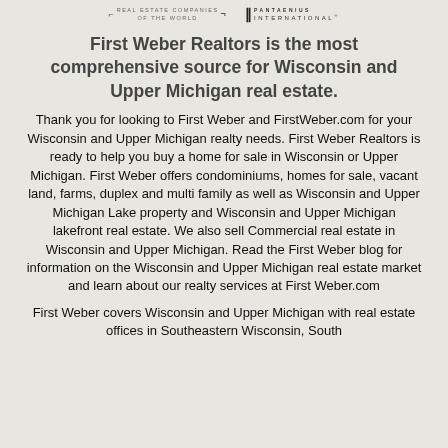[Figure (logo): Two real estate company logos at top: left logo reads 'REAL ESTATE COMPANIES OF THE WORLD', right logo shows 'INTERNATIONAL' with bracket icon]
First Weber Realtors is the most comprehensive source for Wisconsin and Upper Michigan real estate.
Thank you for looking to First Weber and FirstWeber.com for your Wisconsin and Upper Michigan realty needs. First Weber Realtors is ready to help you buy a home for sale in Wisconsin or Upper Michigan. First Weber offers condominiums, homes for sale, vacant land, farms, duplex and multi family as well as Wisconsin and Upper Michigan Lake property and Wisconsin and Upper Michigan lakefront real estate. We also sell Commercial real estate in Wisconsin and Upper Michigan. Read the First Weber blog for information on the Wisconsin and Upper Michigan real estate market and learn about our realty services at First Weber.com
First Weber covers Wisconsin and Upper Michigan with real estate offices in Southeastern Wisconsin, South